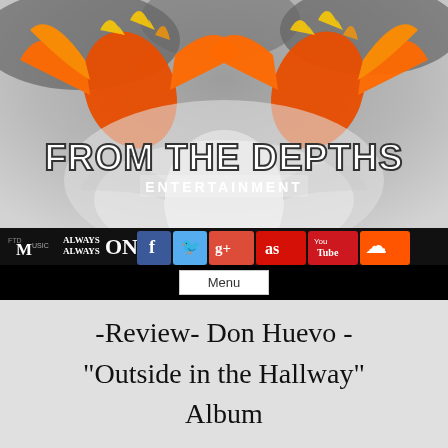[Figure (logo): From The Depths Entertainment banner/logo with orange phoenix/dragon artwork, social media icons row at bottom (FTD Music, Always On, Facebook, Twitter, Google+, Last.fm, YouTube, SoundCloud), dark/grey smoky background]
Menu
-Review- Don Huevo - "Outside in the Hallway" Album